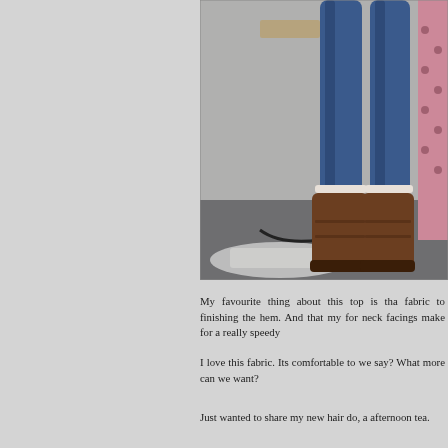[Figure (photo): Partial photo showing the lower body of a person wearing blue jeans and brown leather boots, standing next to a dark wooden table with twisted legs. The floor appears to be carpeted/tiled. Another person in pink is partially visible on the right edge.]
My favourite thing about this top is that fabric to finishing the hem. And that my for neck facings make for a really speedy
I love this fabric. Its comfortable to we say? What more can we want?
Just wanted to share my new hair do, a afternoon tea.